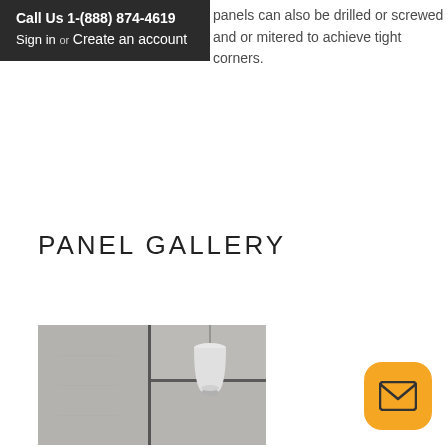Call Us 1-(888) 874-4619
Sign in or Create an account
panels can also be drilled or screwed and or mitered to achieve tight corners.
PANEL GALLERY
[Figure (photo): Concrete wall panels with a white pendant lamp hanging in front, showing panel installation with vertical and horizontal joints.]
[Figure (illustration): Orange rounded-square email icon button in bottom-right corner.]